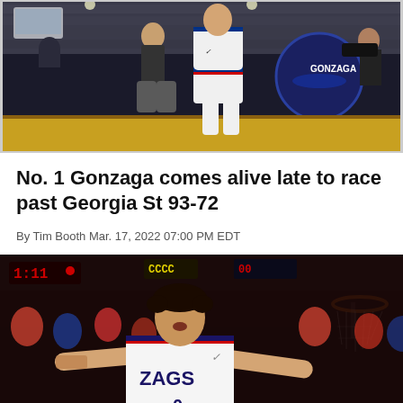[Figure (photo): Basketball players in white Gonzaga uniforms on court, with coach, arena crowd in background]
No. 1 Gonzaga comes alive late to race past Georgia St 93-72
By Tim Booth Mar. 17, 2022 07:00 PM EDT
[Figure (photo): Gonzaga player number 0 in white ZAGS uniform with arms extended, celebrating on court with crowd in background]